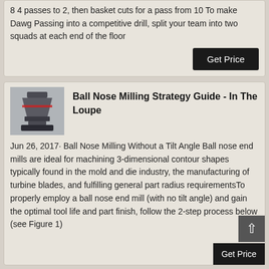8 4 passes to 2, then basket cuts for a pass from 10 To make Dawg Passing into a competitive drill, split your team into two squads at each end of the floor
Get Price
Ball Nose Milling Strategy Guide - In The Loupe
[Figure (photo): Photo of industrial milling machine equipment, showing a large metallic cone/crusher machine]
Jun 26, 2017· Ball Nose Milling Without a Tilt Angle Ball nose end mills are ideal for machining 3-dimensional contour shapes typically found in the mold and die industry, the manufacturing of turbine blades, and fulfilling general part radius requirementsTo properly employ a ball nose end mill (with no tilt angle) and gain the optimal tool life and part finish, follow the 2-step process below (see Figure 1)
Get Price